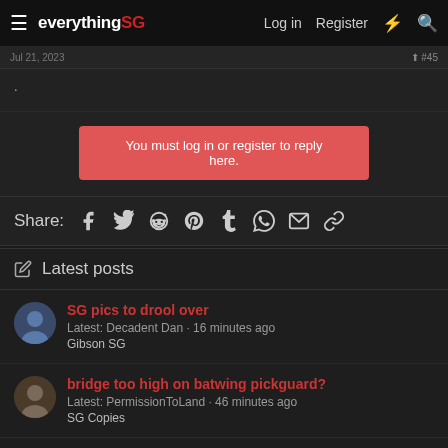everything SG — Log in | Register
.
You must log in or register to reply here.
Share: [Facebook] [Twitter] [Reddit] [Pinterest] [Tumblr] [WhatsApp] [Email] [Link]
Latest posts
SG pics to drool over
Latest: Decadent Dan · 16 minutes ago
Gibson SG
bridge too high on batwing pickguard?
Latest: PermissionToLand · 46 minutes ago
SG Copies
Randy Rhoads Gibson SG